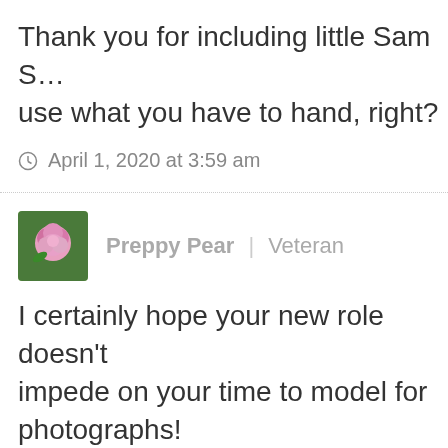Thank you for including little Sam S… use what you have to hand, right?
April 1, 2020 at 3:59 am
[Figure (photo): Avatar photo of a pink rose flower]
Preppy Pear | Veteran
I certainly hope your new role doesn't impede on your time to model for photographs!
April 1, 2020 at 4:01 am